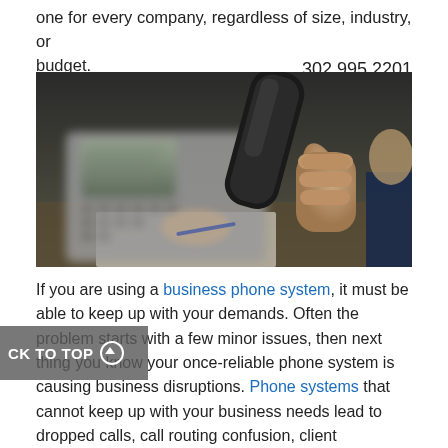one for every company, regardless of size, industry, or budget. 302.995.2201
[Figure (photo): Person holding a telephone handset to their ear, with an office desk phone visible in the background, blurred. Business phone system context.]
If you are using a business phone system, it must be able to keep up with your demands. Often the problem starts with a few minor issues, then next thing you know your once-reliable phone system is causing business disruptions. Phone systems that cannot keep up with your business needs lead to dropped calls, call routing confusion, client complaints, and more.